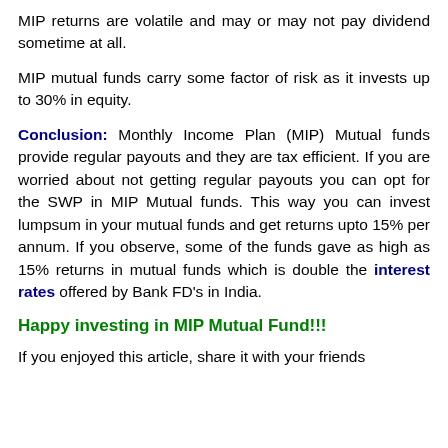MIP returns are volatile and may or may not pay dividend sometime at all.
MIP mutual funds carry some factor of risk as it invests up to 30% in equity.
Conclusion: Monthly Income Plan (MIP) Mutual funds provide regular payouts and they are tax efficient. If you are worried about not getting regular payouts you can opt for the SWP in MIP Mutual funds. This way you can invest lumpsum in your mutual funds and get returns upto 15% per annum. If you observe, some of the funds gave as high as 15% returns in mutual funds which is double the interest rates offered by Bank FD's in India.
Happy investing in MIP Mutual Fund!!!
If you enjoyed this article, share it with your friends